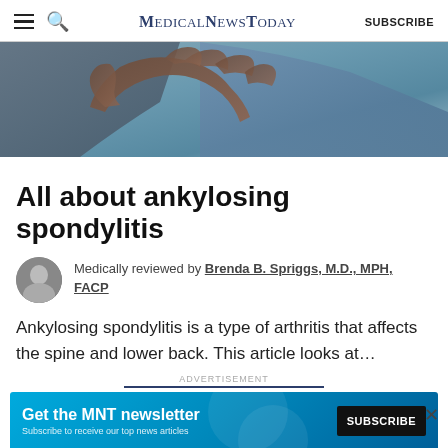MedicalNewsToday — SUBSCRIBE
[Figure (photo): Close-up photo of a person's hand resting on someone's lower back, suggesting a medical examination or back pain scenario]
All about ankylosing spondylitis
Medically reviewed by Brenda B. Spriggs, M.D., MPH, FACP
Ankylosing spondylitis is a type of arthritis that affects the spine and lower back. This article looks at...
ADVERTISEMENT
[Figure (screenshot): MNT newsletter subscription banner ad with text 'Get the MNT newsletter' and 'Subscribe to receive our top news articles' with a SUBSCRIBE button]